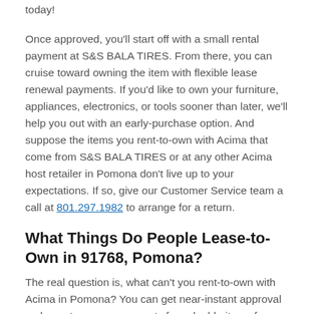today!
Once approved, you'll start off with a small rental payment at S&S BALA TIRES. From there, you can cruise toward owning the item with flexible lease renewal payments. If you'd like to own your furniture, appliances, electronics, or tools sooner than later, we'll help you out with an early-purchase option. And suppose the items you rent-to-own with Acima that come from S&S BALA TIRES or at any other Acima host retailer in Pomona don't live up to your expectations. If so, give our Customer Service team a call at 801.297.1982 to arrange for a return.
What Things Do People Lease-to-Own in 91768, Pomona?
The real question is, what can't you rent-to-own with Acima in Pomona? You can get near-instant approval on lease-to-own agreements for valuable items from S&S BALA TIRES at 996 W Holt Ave. But the fun doesn't stop there! We work with merchants of all kinds in Pomona, which means you can